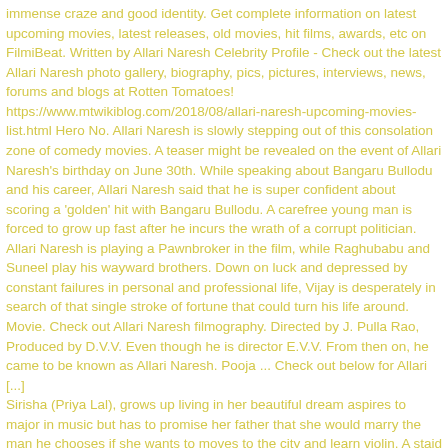immense craze and good identity. Get complete information on latest upcoming movies, latest releases, old movies, hit films, awards, etc on FilmiBeat. Written by Allari Naresh Celebrity Profile - Check out the latest Allari Naresh photo gallery, biography, pics, pictures, interviews, news, forums and blogs at Rotten Tomatoes! https://www.mtwikiblog.com/2018/08/allari-naresh-upcoming-movies-list.html Hero No. Allari Naresh is slowly stepping out of this consolation zone of comedy movies. A teaser might be revealed on the event of Allari Naresh's birthday on June 30th. While speaking about Bangaru Bullodu and his career, Allari Naresh said that he is super confident about scoring a 'golden' hit with Bangaru Bullodu. A carefree young man is forced to grow up fast after he incurs the wrath of a corrupt politician. Allari Naresh is playing a Pawnbroker in the film, while Raghubabu and Suneel play his wayward brothers. Down on luck and depressed by constant failures in personal and professional life, Vijay is desperately in search of that single stroke of fortune that could turn his life around. Movie. Check out Allari Naresh filmography. Directed by J. Pulla Rao, Produced by D.V.V. Even though he is director E.V.V. From then on, he came to be known as Allari Naresh. Pooja ... Check out below for Allari [...] Sirisha (Priya Lal), grows up living in her beautiful dream aspires to major in music but has to promise her father that she would marry the man he chooses if she wants to moves to the city and learn violin. A staid doctor's monotonous routine is shaken up when a gangster wh...